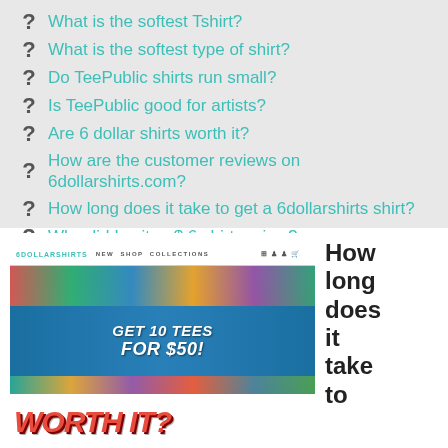What is the softest Tshirt?
What is the softest type of shirt?
Do TeePublic shirts run small?
Is TeePublic good for artists?
Are 6 dollar shirts worth it?
How are the customer reviews on 6dollarshirts.com?
How long does it take to get a 6dollarshirts shirt?
Why did I write a$ 6 shirt review?
Are there any good delta T-shirts for women?
[Figure (screenshot): Screenshot of 6dollarshirts.com website showing a promotional banner 'GET 10 TEES FOR $50!' with colorful stacked shirts in the background and 'WORTH IT?' text in large red letters below.]
How long does it take to